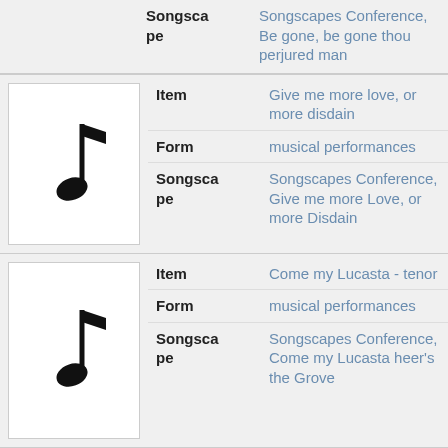|  | Field | Value |
| --- | --- | --- |
| [music icon] | Songscape | Songscapes Conference, Be gone, be gone thou perjured man |
| [music icon] | Item | Give me more love, or more disdain |
|  | Form | musical performances |
|  | Songscape | Songscapes Conference, Give me more Love, or more Disdain |
| [music icon] | Item | Come my Lucasta - tenor |
|  | Form | musical performances |
|  | Songscape | Songscapes Conference, Come my Lucasta heer's the Grove |
| [music icon] | Item | Come my Lucasta - mezzo-soprano |